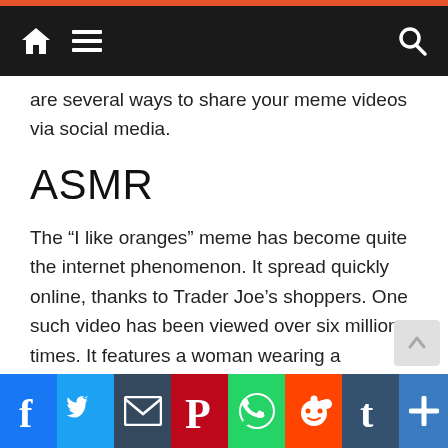Navigation bar with home, menu, and search icons
are several ways to share your meme videos via social media.
ASMR
The “I like oranges” meme has become quite the internet phenomenon. It spread quickly online, thanks to Trader Joe’s shoppers. One such video has been viewed over six million times. It features a woman wearing a patterned sweater and long gray hair. She is seen talking animatedly with other shoppers while wearing a surgical mask. We can relate to her hilarious sidekick and the woman’s reaction to this video.
Origins
[Figure (other): Social media share buttons: Facebook (blue), Twitter (blue), Email (dark blue), Pinterest (red), WhatsApp (green), Reddit (orange-red), Tumblr (dark blue-gray), Plus/More (blue)]